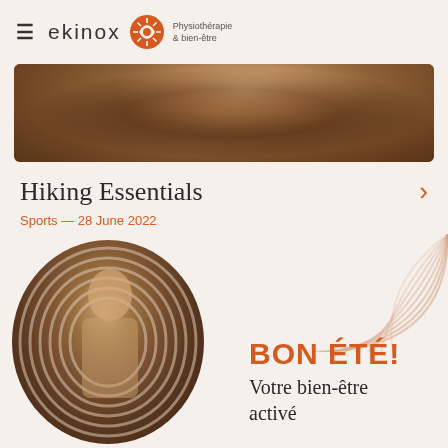ekinox — Physiothérapie & bien-être
[Figure (photo): Cropped hiking photo showing a person with striped shirt and backpack in an autumn forest setting]
Hiking Essentials
Sports — 28 June 2022
[Figure (photo): Circular cropped photo of a woman with curly hair stretching her arm overhead, with concentric ring graphic overlay, against an outdoor background. Decorative arc design in top right. Text reads BON ÉTÉ! Votre bien-être activé]